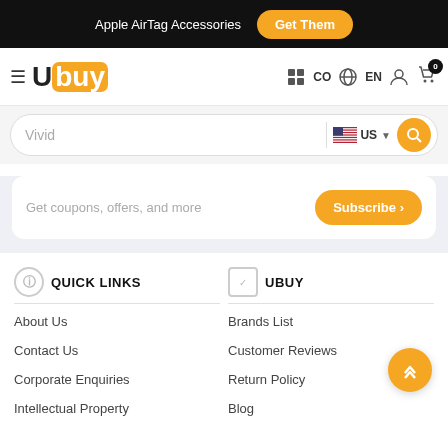Apple AirTag Accessories  Get Them
[Figure (logo): Ubuy logo with hamburger menu and navigation icons: grid, CO, globe EN, user, cart with 0 badge]
Vivid  US
Get coupons, offers, and more  Subscribe >
QUICK LINKS
UBUY
About Us
Brands List
Contact Us
Customer Reviews
Corporate Enquiries
Return Policy
Intellectual Property
Blog